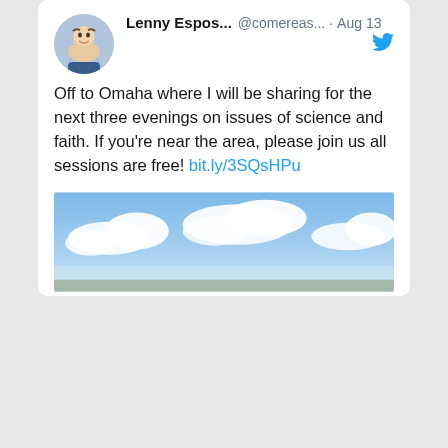[Figure (screenshot): A tweet by Lenny Espos... (@comereas...) posted on Aug 13, with a circular profile photo of a smiling man, a Twitter bird icon, tweet text saying 'Off to Omaha where I will be sharing for the next three evenings on issues of science and faith. If you're near the area, please join us all sessions are free! bit.ly/3SQsHPu', and a partial image of a sky with clouds.]